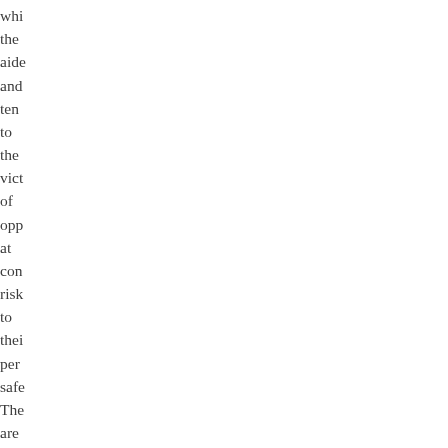whi the aide and ten to the vict of opp at con risk to thei per safe The are not sma mat An